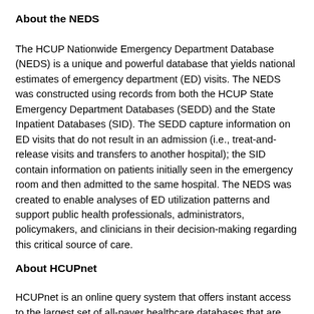About the NEDS
The HCUP Nationwide Emergency Department Database (NEDS) is a unique and powerful database that yields national estimates of emergency department (ED) visits. The NEDS was constructed using records from both the HCUP State Emergency Department Databases (SEDD) and the State Inpatient Databases (SID). The SEDD capture information on ED visits that do not result in an admission (i.e., treat-and-release visits and transfers to another hospital); the SID contain information on patients initially seen in the emergency room and then admitted to the same hospital. The NEDS was created to enable analyses of ED utilization patterns and support public health professionals, administrators, policymakers, and clinicians in their decision-making regarding this critical source of care.
About HCUPnet
HCUPnet is an online query system that offers instant access to the largest set of all-payer healthcare databases that are publicly available. HCUPnet has an easy step-by-step query system, allowing for tables and graphs to be generated on national and regional statistics, as well as trends for community hospitals in the U.S. HCUPnet generates statistics using data from HCUP's Nationwide Inpatient Sample (NIS), the Kids' Inpatient Database (KID), the Nationwide Emergency Department Sample (NEDS), the State